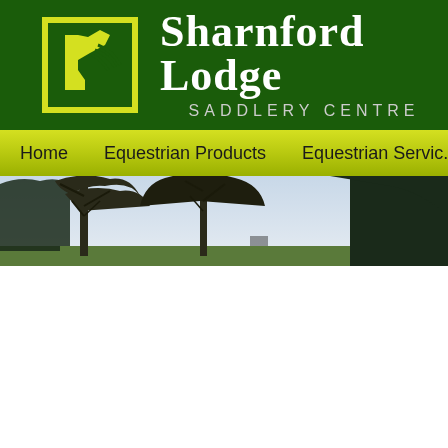[Figure (logo): Sharnford Lodge Saddlery Centre website screenshot showing dark green header with yellow horse logo, site title, navigation bar with Home, Equestrian Products, Equestrian Services links, and a hero photo of bare trees against a pale sky]
Sharnford Lodge SADDLERY CENTRE
Home
Equestrian Products
Equestrian Servic...